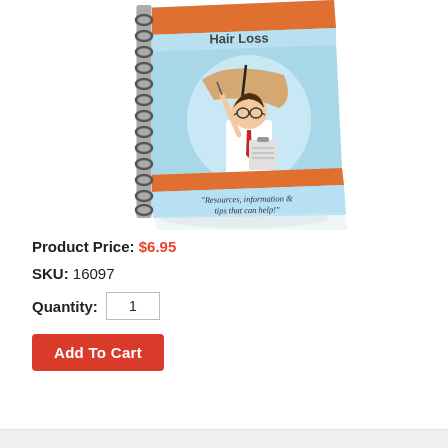[Figure (illustration): A spiral-bound notebook/guide book cover titled 'Hair Loss' with a light blue background, an orange stripe, and an illustration of a doctor/physician in a white coat with glasses pointing to a diagram of a hair follicle. The subtitle reads: "Resources, information & tips that can help!" The book is shown at an angle with a slight reflection beneath it.]
Product Price: $6.95
SKU: 16097
Quantity: 1
Add To Cart